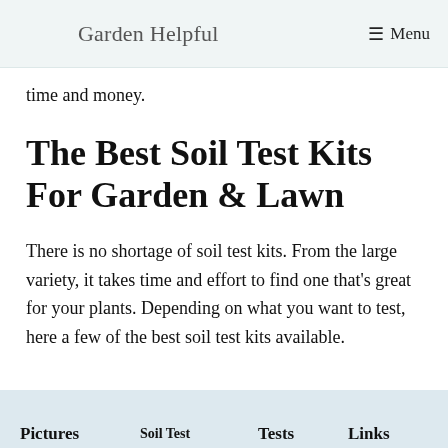Garden Helpful   ☰ Menu
time and money.
The Best Soil Test Kits For Garden & Lawn
There is no shortage of soil test kits. From the large variety, it takes time and effort to find one that's great for your plants. Depending on what you want to test, here a few of the best soil test kits available.
| Pictures | Soil Test | Tests | Links |
| --- | --- | --- | --- |